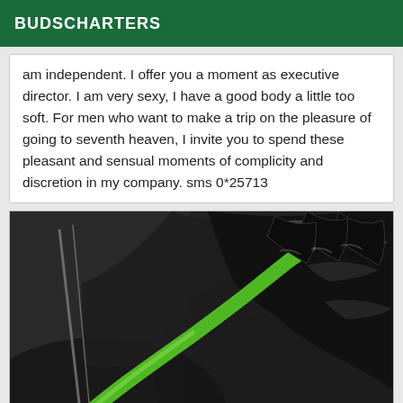BUDSCHARTERS
am independent. I offer you a moment as executive director. I am very sexy, I have a good body a little too soft. For men who want to make a trip on the pleasure of going to seventh heaven, I invite you to spend these pleasant and sensual moments of complicity and discretion in my company. sms 0*25713
[Figure (photo): Close-up photo of a hand in black latex/rubber glove holding a green chili pepper against a dark background.]